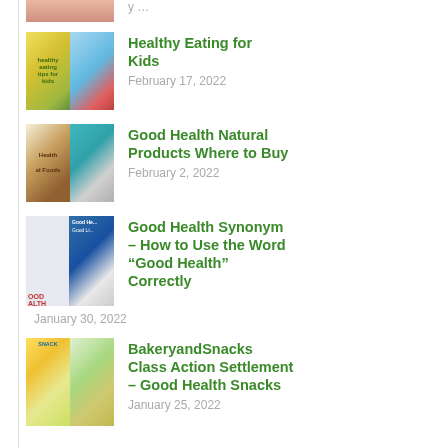[Figure (photo): Partial top image cut off at page top]
[Figure (photo): Healthy eating for kids thumbnail - child with food collage]
Healthy Eating for Kids
February 17, 2022
[Figure (photo): Good Health Natural Products thumbnail - vegetables and foods collage]
Good Health Natural Products Where to Buy
February 2, 2022
[Figure (photo): Good Health Synonym thumbnail - words and icons collage]
Good Health Synonym – How to Use the Word “Good Health” Correctly
January 30, 2022
[Figure (photo): BakeryandSnacks class action settlement thumbnail - snacks collage]
BakeryandSnacks Class Action Settlement – Good Health Snacks
January 25, 2022